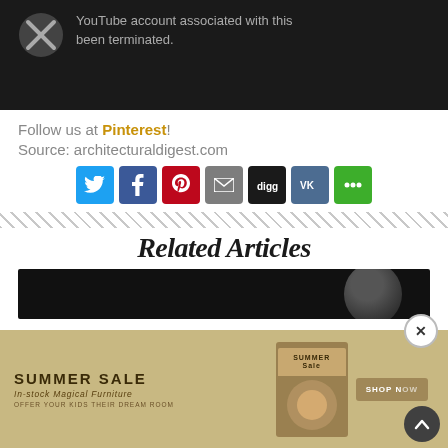[Figure (screenshot): YouTube terminated account notice — dark background with YouTube icon and grey text saying 'YouTube account associated with this been terminated.']
Follow us at Pinterest!
Source: architecturaldigest.com
[Figure (infographic): Social sharing buttons: Twitter, Facebook, Pinterest, Email, Digg, VK, More Options]
[Figure (other): Diagonal stripe divider]
Related Articles
[Figure (photo): Dark article thumbnail image with person visible]
[Figure (infographic): Advertisement overlay: SUMMER SALE — In-stock Magical Furniture, OFFER YOUR KIDS THEIR DREAM ROOM, with product image and SHOP NOW button, close X button and scroll-up button]